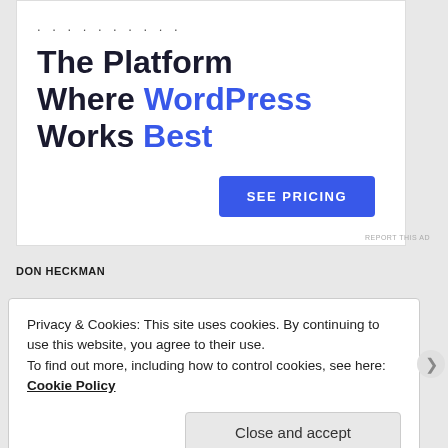[Figure (infographic): Advertisement banner with dots at top, large headline 'The Platform Where WordPress Works Best', and a blue 'SEE PRICING' button]
REPORT THIS AD
DON HECKMAN
Privacy & Cookies: This site uses cookies. By continuing to use this website, you agree to their use.
To find out more, including how to control cookies, see here: Cookie Policy
Close and accept